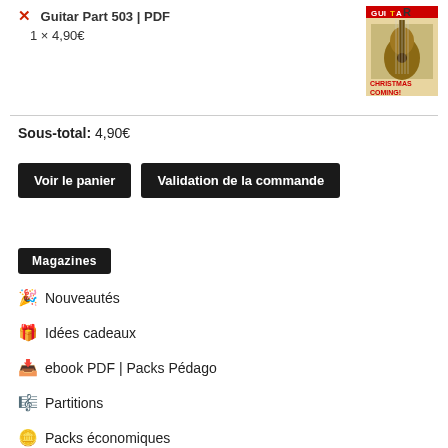Guitar Part 503 | PDF
1 × 4,90€
[Figure (photo): Cover of Guitarist magazine with Christmas theme, showing guitars and text 'CHRISTMAS COMING!']
Sous-total: 4,90€
Voir le panier
Validation de la commande
Magazines
Nouveautés
Idées cadeaux
ebook PDF | Packs Pédago
Partitions
Packs économiques
Destockage